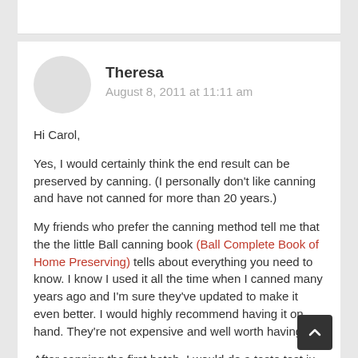Theresa
August 8, 2011 at 11:11 am
Hi Carol,

Yes, I would certainly think the end result can be preserved by canning. (I personally don't like canning and have not canned for more than 20 years.)

My friends who prefer the canning method tell me that the the little Ball canning book (Ball Complete Book of Home Preserving) tells about everything you need to know. I know I used it all the time when I canned many years ago and I'm sure they've updated to make it even better. I would highly recommend having it on hand. They're not expensive and well worth having.

After canning the first batch, I would do a taste test ju